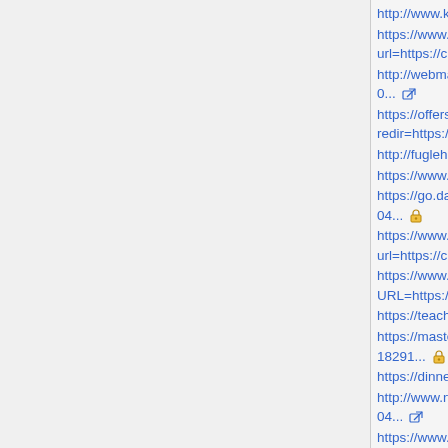http://www.katakura.net/xoops/html/modules/wor...
https://www.twingotuningforum.de/safelink.php?url=https://ckandemo.dicc.um.edu.my/uploads/...
http://webmail.ysljdj.com/redir.php?https://ckande... 0... [external link icon]
https://offers.sidex.ru/stat_ym_new.php?redir=https://ckandemo.dicc.um.edu.my/uploads/u...
http://fuglehandel.dk/redir.php?url=https://ckander...
https://www.workplacefairness.org/link?firm=56&u...
https://go.dadebaran.ir/index.php?url=https://ckan... 04... [lock icon]
https://www.cashbackchecker.co.uk/help/4/1561/?url=https://ckandemo.dicc.um.edu.my/uploads... [lock icon]
https://www.play.net/bounce/redirect.asp?URL=https://ckandemo.dicc.um.edu.my/uploads/u...
https://teacher.piano.or.jp/redirect_link?ptna_id=1...
https://masteram.us/away?url=https://ckandemo.d... 18291... [lock icon]
https://dinnerlust.dk/?book-now&goTo=https://cka...
http://www.nomer-doma.ru/rere.php?url=https://ck... 04... [external link icon]
https://www.theredledger.com/buy.php?book=rebo... ledger&store=Amazon%20Kindle... [lock icon]
https://www.stelrad.ie/redirect/?url=https://ckande...
https://webmail.unige.it/horde/util/go.php?url=http...